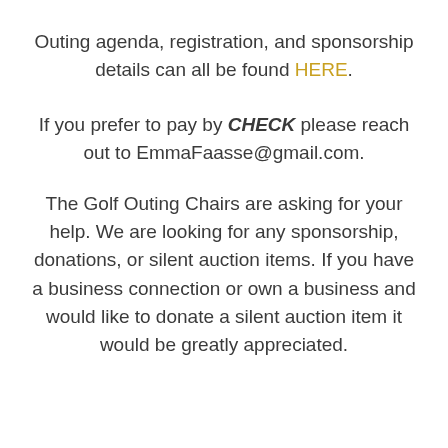Outing agenda, registration, and sponsorship details can all be found HERE.
If you prefer to pay by CHECK please reach out to EmmaFaasse@gmail.com.
The Golf Outing Chairs are asking for your help. We are looking for any sponsorship, donations, or silent auction items. If you have a business connection or own a business and would like to donate a silent auction item it would be greatly appreciated.